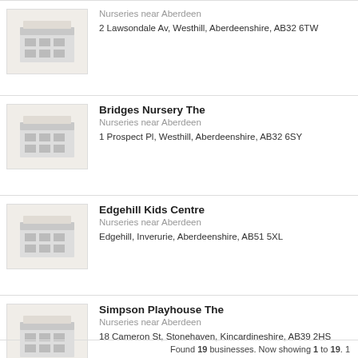[Figure (illustration): Placeholder building icon for first listing (partial, top)]
Nurseries near Aberdeen
2 Lawsondale Av, Westhill, Aberdeenshire, AB32 6TW
[Figure (illustration): Placeholder building icon for Bridges Nursery The]
Bridges Nursery The
Nurseries near Aberdeen
1 Prospect Pl, Westhill, Aberdeenshire, AB32 6SY
[Figure (illustration): Placeholder building icon for Edgehill Kids Centre]
Edgehill Kids Centre
Nurseries near Aberdeen
Edgehill, Inverurie, Aberdeenshire, AB51 5XL
[Figure (illustration): Placeholder building icon for Simpson Playhouse The]
Simpson Playhouse The
Nurseries near Aberdeen
18 Cameron St, Stonehaven, Kincardineshire, AB39 2HS
Found 19 businesses. Now showing 1 to 19. 1